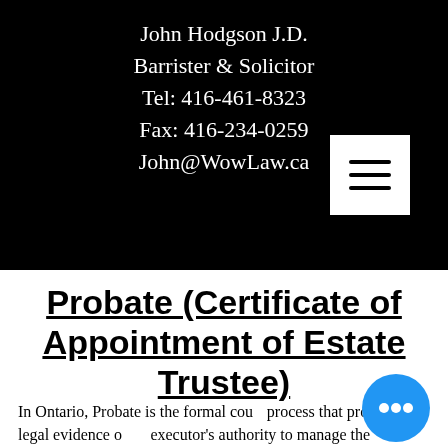John Hodgson J.D.
Barrister & Solicitor
Tel: 416-461-8323
Fax: 416-234-0259
John@WowLaw.ca
Probate (Certificate of Appointment of Estate Trustee)
In Ontario, Probate is the formal court process that provides legal evidence of an executor's authority to manage the